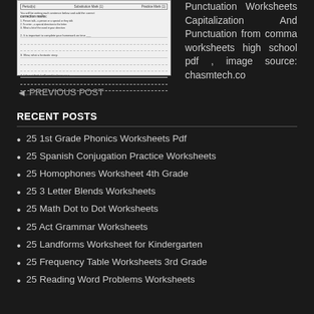[Figure (screenshot): A worksheet image showing a grammar/punctuation exercise with header row, instructions, and numbered fill-in-the-blank questions with dashed answer lines]
Punctuation Worksheets Capitalization And Punctuation from comma worksheets high school pdf , image source: chasmtech.co
◄ PREVIOUS POST
RECENT POSTS
25 1st Grade Phonics Worksheets Pdf
25 Spanish Conjugation Practice Worksheets
25 Homophones Worksheet 4th Grade
25 3 Letter Blends Worksheets
25 Math Dot to Dot Worksheets
25 Act Grammar Worksheets
25 Landforms Worksheet for Kindergarten
25 Frequency Table Worksheets 3rd Grade
25 Reading Word Problems Worksheets